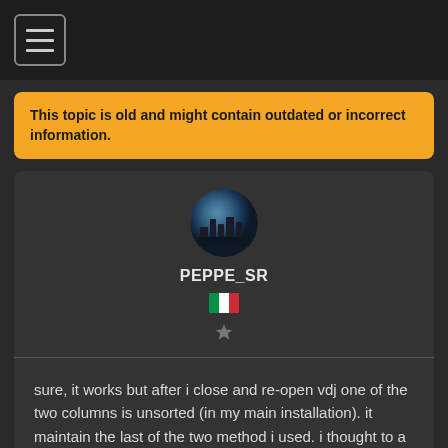[Figure (illustration): Hamburger menu icon: three horizontal lines inside a rounded rectangle border]
This topic is old and might contain outdated or incorrect information.
[Figure (illustration): Circular avatar of user PEPPE_SR showing a dark silhouette cityscape with blue sky]
PEPPE_SR
[Figure (illustration): Italian flag emoji]
[Figure (illustration): Star icon (rating/rank indicator)]
sure, it works but after i close and re-open vdj one of the two columns is unsorted (in my main installation). it maintain the last of the two method i used. i thought to a multiple selection with control.
Posted Wed 17 Oct 18 @ 10:19 am